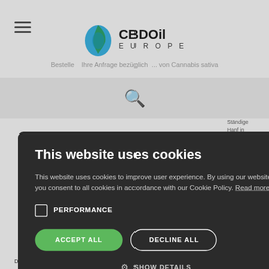[Figure (logo): CBDOil Europe logo with green and blue teardrop icon]
Bestelle Ihre Anfrage bezüglich... von Cannabis sativa
[Figure (screenshot): Search bar with magnifying glass icon on light grey background]
Ständige... Hanf in Teile der päischen clstaaten
This website uses cookies
This website uses cookies to improve user experience. By using our website you consent to all cookies in accordance with our Cookie Policy. Read more
PERFORMANCE
ACCEPT ALL
DECLINE ALL
SHOW DETAILS
POWERED BY COOKIE-SCRIPT
D - 63930 Richelbach